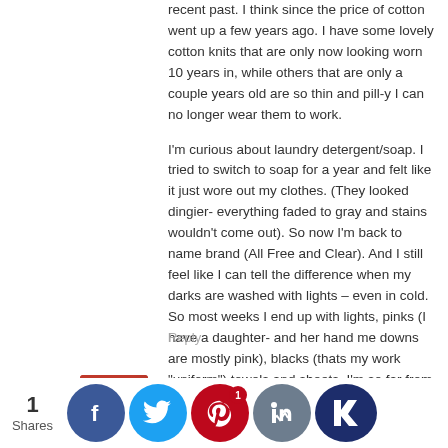recent past. I think since the price of cotton went up a few years ago. I have some lovely cotton knits that are only now looking worn 10 years in, while others that are only a couple years old are so thin and pill-y I can no longer wear them to work.
I'm curious about laundry detergent/soap. I tried to switch to soap for a year and felt like it just wore out my clothes. (They looked dingier- everything faded to gray and stains wouldn't come out). So now I'm back to name brand (All Free and Clear). And I still feel like I can tell the difference when my darks are washed with lights – even in cold. So most weeks I end up with lights, pinks (I have a daughter- and her hand me downs are mostly pink), blacks (thats my work "uniform") towels and sheets. I'm so far from being down to 1-2 loads a week!
Reply
Mr. Frugalwoods  ◎  August 26, 2015 at 7:33 pm
We use the Kirkland brand laundry detergent (from costco) in the scentless formula. Seems to work fine, though we haven't tested others.